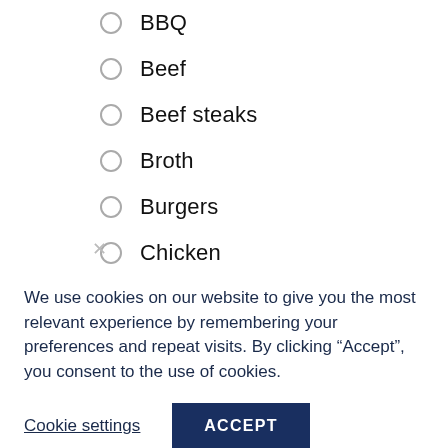BBQ
Beef
Beef steaks
Broth
Burgers
Chicken
Extras
We use cookies on our website to give you the most relevant experience by remembering your preferences and repeat visits. By clicking “Accept”, you consent to the use of cookies.
Cookie settings   ACCEPT